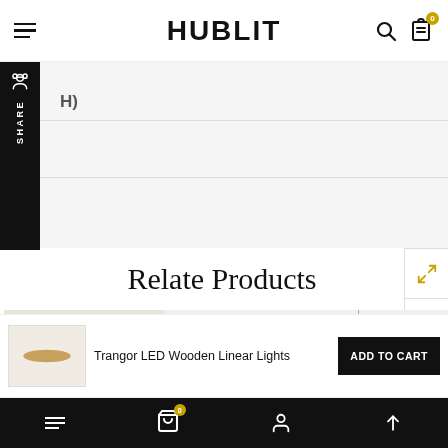HUBLIT
H)
Relate Products
[Figure (photo): Product card area showing partial product image with vertical separator line]
Trangor LED Wooden Linear Lights
ADD TO CART
Bottom navigation bar with menu, cart, account, and up-arrow icons